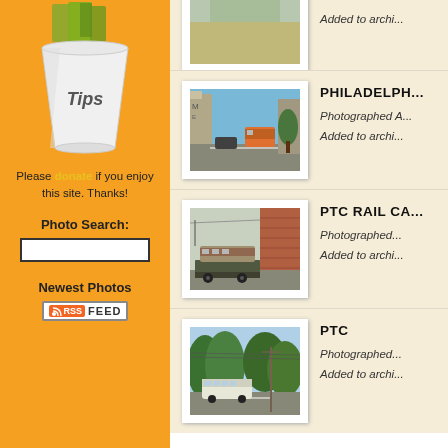[Figure (illustration): Tips cup with money on orange background]
Please donate if you enjoy this site. Thanks!
Photo Search:
Newest Photos
[Figure (other): RSS Feed badge]
[Figure (photo): Partial photo at top - first entry (truncated)]
Added to archi...
[Figure (photo): Philadelphia street scene with tram/trolley car]
PHILADELPH...
Photographed A... Added to archi...
[Figure (photo): PTC Rail Car on flatbed truck]
PTC RAIL CA...
Photographed... Added to archi...
[Figure (photo): PTC bus on tree-lined road]
PTC
Photographed... Added to archi...